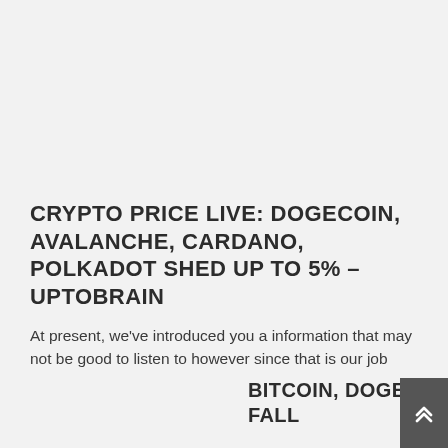CRYPTO PRICE LIVE: DOGECOIN, AVALANCHE, CARDANO, POLKADOT SHED UP TO 5% – UPTOBRAIN
At present, we've introduced you a information that may not be good to listen to however since that is our job
BITCOIN, DOGECOIN AND OTHER CRYPTOCURRENCY PRICES TODAY FALL